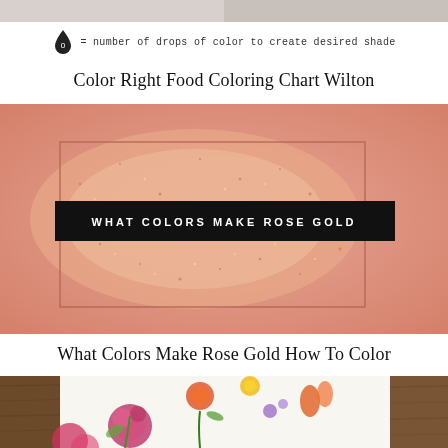[Figure (photo): Cropped top portion of a color chart or food coloring reference image, showing two muted pinkish-grey sections]
= number of drops of color to create desired shade
Color Right Food Coloring Chart Wilton
[Figure (photo): Rose gold glitter splash on a pink background with a dark rectangular border outline overlay and a black banner reading WHAT COLORS MAKE ROSE GOLD in white uppercase letters]
What Colors Make Rose Gold How To Color
[Figure (photo): Floral patterned paper or fabric with colorful painted flowers (roses, tulips) on a white background, placed on a wooden surface, partially cropped]